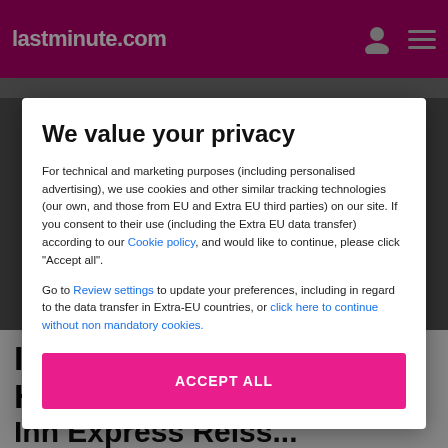lastminute.com
We value your privacy
For technical and marketing purposes (including personalised advertising), we use cookies and other similar tracking technologies (our own, and those from EU and Extra EU third parties) on our site. If you consent to their use (including the Extra EU data transfer) according to our Cookie policy, and would like to continue, please click "Accept all".
Go to Review settings to update your preferences, including in regard to the data transfer in Extra-EU countries, or click here to continue without non mandatory cookies.
ACCEPT ALL
Information about Holiday Inn Express Reiss...